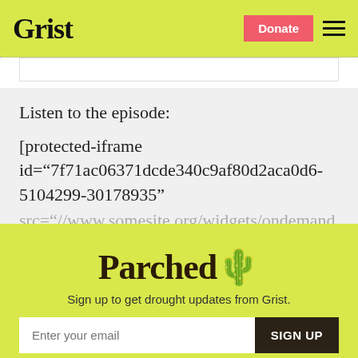Grist | Donate
Listen to the episode:
[protected-iframe id="7f71ac06371dcde340c9af80d2aca0d6-5104299-30178935" src="//www.somesite.org/widgets/ondemand...
Parched
Sign up to get drought updates from Grist.
Enter your email
SIGN UP
No thanks